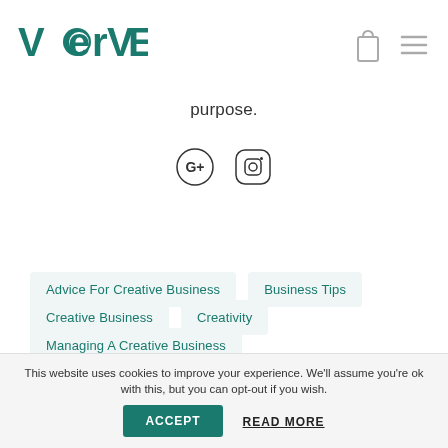[Figure (logo): VERVE logo in teal/dark green color with geometric lettering]
purpose.
[Figure (infographic): Social media icons: Google+ (G+) and Instagram]
Advice For Creative Business
Business Tips
Creative Business
Creativity
Managing A Creative Business
Tips For Business
This website uses cookies to improve your experience. We'll assume you're ok with this, but you can opt-out if you wish.
ACCEPT
READ MORE